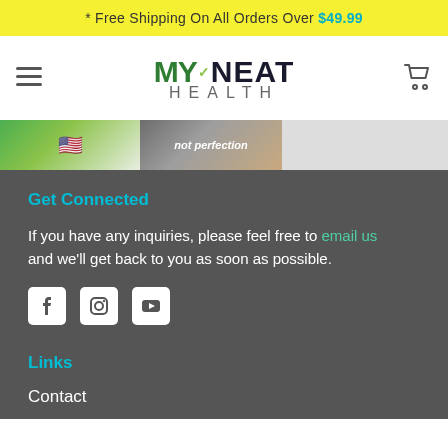* Free Shipping On All Orders Over $49.99
[Figure (logo): MyNeat Health logo with green checkmark]
[Figure (photo): Product image strip showing green supplement product with US flag and 'not perfection' text]
Get Connected
If you have any inquiries, please feel free to email us and we'll get back to you as soon as possible.
[Figure (infographic): Social media icons: Facebook, Instagram, YouTube]
Links
Contact